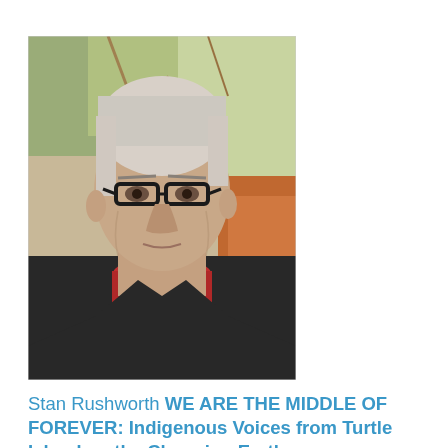[Figure (photo): Portrait photo of an elderly man with white/grey hair, wearing dark-rimmed glasses, a red shirt and dark jacket, photographed outdoors with trees in the background.]
Stan Rushworth WE ARE THE MIDDLE OF FOREVER: Indigenous Voices from Turtle Island on the Changing Earth